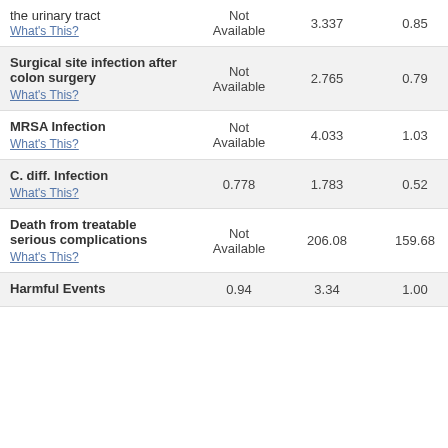| Measure | Col2 | Col3 | Col4 | Col5 |
| --- | --- | --- | --- | --- |
| the urinary tract
What's This? | Not Available | 3.337 | 0.85 | 0.00 |
| Surgical site infection after colon surgery
What's This? | Not Available | 2.765 | 0.79 | 0.00 |
| MRSA Infection
What's This? | Not Available | 4.033 | 1.03 | 0.00 |
| C. diff. Infection
What's This? | 0.778 | 1.783 | 0.52 | 0.00 |
| Death from treatable serious complications
What's This? | Not Available | 206.08 | 159.68 | 95.6 |
| Harmful Events | 0.94 | 3.34 | 1.00 | 0.60 |